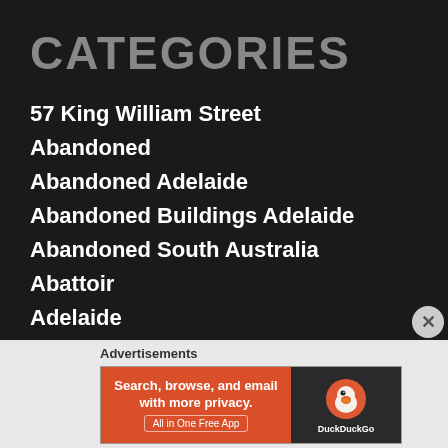CATEGORIES
57 King William Street
Abandoned
Abandoned Adelaide
Abandoned Buildings Adelaide
Abandoned South Australia
Abattoir
Adelaide
Adelaide Central Market
Adelaide Church
Amcor
Advertisements